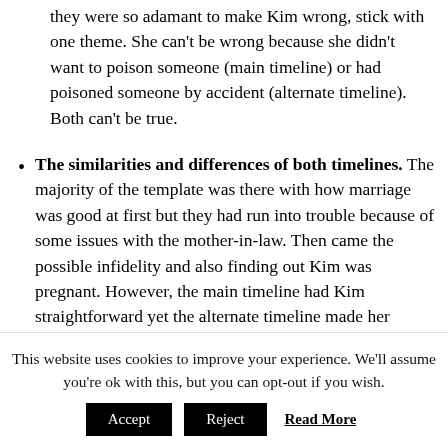they were so adamant to make Kim wrong, stick with one theme. She can't be wrong because she didn't want to poison someone (main timeline) or had poisoned someone by accident (alternate timeline). Both can't be true.
The similarities and differences of both timelines. The majority of the template was there with how marriage was good at first but they had run into trouble because of some issues with the mother-in-law. Then came the possible infidelity and also finding out Kim was pregnant. However, the main timeline had Kim straightforward yet the alternate timeline made her beyond oblivious to things on
This website uses cookies to improve your experience. We'll assume you're ok with this, but you can opt-out if you wish.